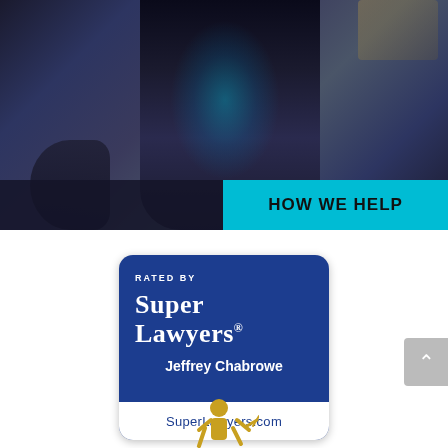[Figure (photo): Dark moody photo of Lady Justice statue holding scales, wearing ornate corset/robes, with a cyan/teal 'HOW WE HELP' banner overlay in the bottom right corner]
[Figure (logo): Super Lawyers badge: dark blue rounded rectangle with 'RATED BY' text, 'Super Lawyers' logo, 'Jeffrey Chabrowe' name, and 'SuperLawyers.com' in white footer bar]
[Figure (illustration): Partial yellow/gold icon at bottom center, appears to be a figure or award symbol]